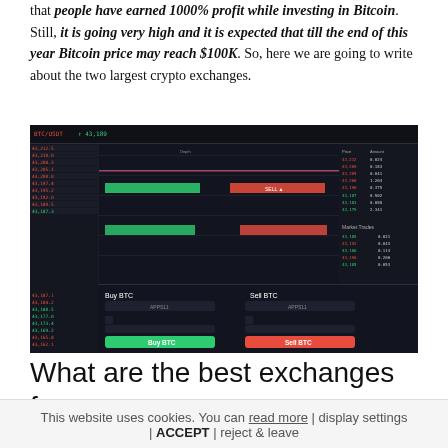that people have earned 1000% profit while investing in Bitcoin. Still, it is going very high and it is expected that till the end of this year Bitcoin price may reach $100K. So, here we are going to write about the two largest crypto exchanges.
[Figure (screenshot): Screenshot of a cryptocurrency exchange trading interface (BTC/USDT) showing order book, buy/sell panels with green Buy BTC and red Sell BTC buttons, candlestick-like bars in green and red, price lists, and market trades panel on dark background.]
What are the best exchanges for
This website uses cookies. You can read more | display settings | ACCEPT | reject & leave